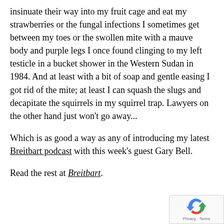insinuate their way into my fruit cage and eat my strawberries or the fungal infections I sometimes get between my toes or the swollen mite with a mauve body and purple legs I once found clinging to my left testicle in a bucket shower in the Western Sudan in 1984. And at least with a bit of soap and gentle easing I got rid of the mite; at least I can squash the slugs and decapitate the squirrels in my squirrel trap. Lawyers on the other hand just won't go away...
Which is as good a way as any of introducing my latest Breitbart podcast with this week's guest Gary Bell.
Read the rest at Breitbart.